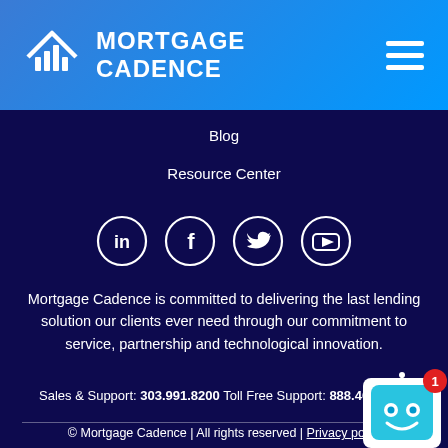MORTGAGE CADENCE
Blog
Resource Center
[Figure (infographic): Four social media icons in circles: LinkedIn, Facebook, Twitter/X, YouTube]
Mortgage Cadence is committed to delivering the last lending solution our clients ever need through our commitment to service, partnership and technological innovation.
Sales & Support: 303.991.8200 Toll Free Support: 888.462.2336
© Mortgage Cadence | All rights reserved | Privacy pol…
[Figure (illustration): Chatbot icon with notification badge showing 1]